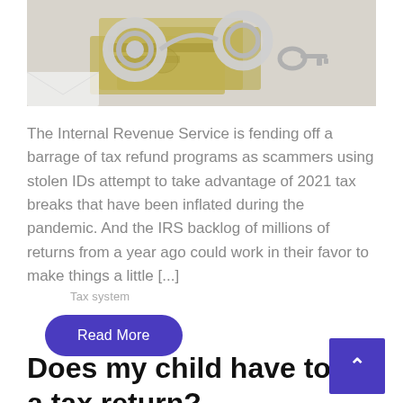[Figure (photo): Photo of handcuffs and money (dollar bills) on a white background, suggesting financial crime or tax fraud.]
The Internal Revenue Service is fending off a barrage of tax refund programs as scammers using stolen IDs attempt to take advantage of 2021 tax breaks that have been inflated during the pandemic. And the IRS backlog of millions of returns from a year ago could work in their favor to make things a little [...]
Tax system
Read More
Does my child have to file a tax return?